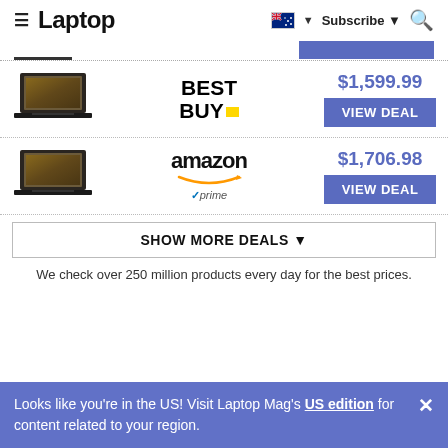≡ Laptop | 🇦🇺 ▼ Subscribe ▼ 🔍
[Figure (screenshot): Tab bar with underline indicator on left and blue button on right]
[Figure (screenshot): Deal row: laptop image, Best Buy logo, price $1,599.99, VIEW DEAL button]
[Figure (screenshot): Deal row: laptop image, Amazon Prime logo, price $1,706.98, VIEW DEAL button]
SHOW MORE DEALS ▼
We check over 250 million products every day for the best prices.
Looks like you're in the US! Visit Laptop Mag's US edition for content related to your region.